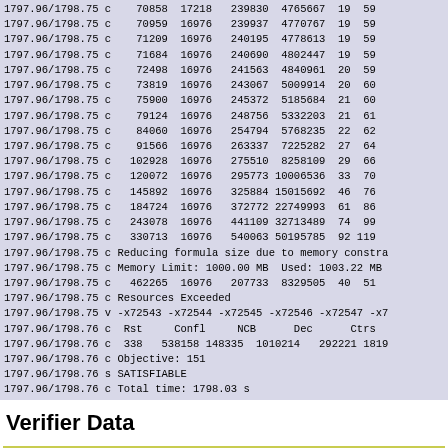1797.96/1798.75 c    70858  17218   239830  4765667  19  59
1797.96/1798.75 c    70959  16976   239937  4770767  19  59
1797.96/1798.75 c    71209  16976   240195  4778613  19  59
1797.96/1798.75 c    71684  16976   240690  4802447  19  59
1797.96/1798.75 c    72498  16976   241563  4840961  20  59
1797.96/1798.75 c    73819  16976   243067  5009914  20  60
1797.96/1798.75 c    75900  16976   245372  5185684  21  60
1797.96/1798.75 c    79124  16976   248756  5332203  21  61
1797.96/1798.75 c    84060  16976   254794  5768235  22  62
1797.96/1798.75 c    91566  16976   263337  7225282  27  64
1797.96/1798.75 c   102928  16976   275510  8258109  29  66
1797.96/1798.75 c   120072  16976   295773 10006536  33  70
1797.96/1798.75 c   145892  16976   325884 15015692  46  76
1797.96/1798.75 c   184724  16976   372772 22749993  61  86
1797.96/1798.75 c   243078  16976   441109 32713489  74  99
1797.96/1798.75 c   330713  16976   540063 50195785  92 119
1797.96/1798.75 c Reducing formula size due to memory constra
1797.96/1798.75 c Memory Limit: 1000.00 MB  Used: 1003.22 MB
1797.96/1798.75 c   462265  16976   207733  8329505  40  51
1797.96/1798.75 c Resources Exceeded
1797.96/1798.75 v -x72543 -x72544 -x72545 -x72546 -x72547 -x7
1797.96/1798.76 c  Rst     Confl     NCB      Dec      Ctrs
1797.96/1798.76 c  338   538158 148335  1010214   292221 1819
1797.96/1798.76 c Objective: 151
1797.96/1798.76 s SATISFIABLE
1797.96/1798.76 c Total time: 1798.03 s
Verifier Data
|  |  |
| --- | --- |
| OK | 151 |